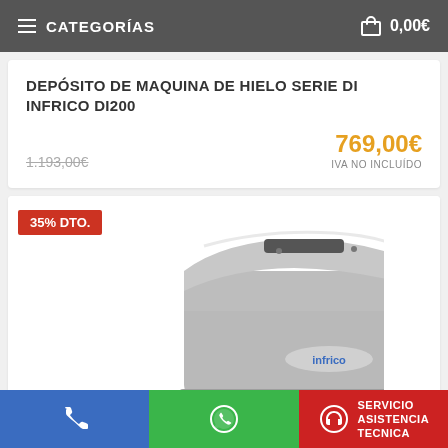CATEGORÍAS  0,00€
DEPÓSITO DE MAQUINA DE HIELO SERIE DI INFRICO DI200
1.193,00€  769,00€  IVA NO INCLUÍDO
[Figure (photo): Infrico DI200 ice machine bin/storage unit, grey colored appliance with Infrico logo, shown with a 35% DTO. discount badge]
SERVICIO ASISTENCIA TECNICA